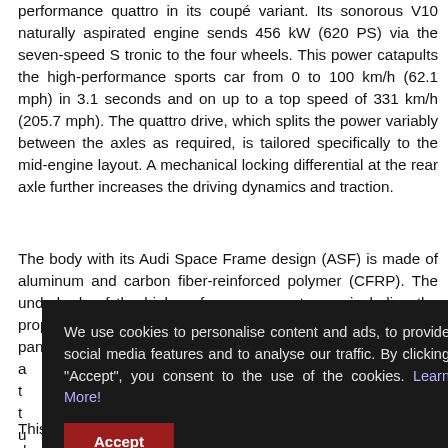performance quattro in its coupé variant. Its sonorous V10 naturally aspirated engine sends 456 kW (620 PS) via the seven-speed S tronic to the four wheels. This power catapults the high-performance sports car from 0 to 100 km/h (62.1 mph) in 3.1 seconds and on up to a top speed of 331 km/h (205.7 mph). The quattro drive, which splits the power variably between the axles as required, is tailored specifically to the mid-engine layout. A mechanical locking differential at the rear axle further increases the driving dynamics and traction.
The body with its Audi Space Frame design (ASF) is made of aluminum and carbon fiber-reinforced polymer (CFRP). The underbody of the high-performance sports car, including the propeller shaft, is almost completely covered with smooth paneling. T[...] through the wheel a[...] nt of the rear axle, t[...] NACA vents, which t[...] . The wide diffuser u[...] returns to ambient s[...]
This sections effectively on the airts flow and on a sir in the d...
[Figure (other): Cookie consent overlay popup with dark background. Text reads: 'We use cookies to personalise content and ads, to provide social media features and to analyse our traffic. By clicking "Accept", you consent to the use of the cookies. Learn More!' with a red Accept button.]